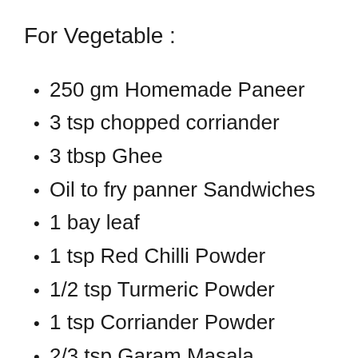For Vegetable :
250 gm Homemade Paneer
3 tsp chopped corriander
3 tbsp Ghee
Oil to fry panner Sandwiches
1 bay leaf
1 tsp Red Chilli Powder
1/2 tsp Turmeric Powder
1 tsp Corriander Powder
2/3 tsp Garam Masala